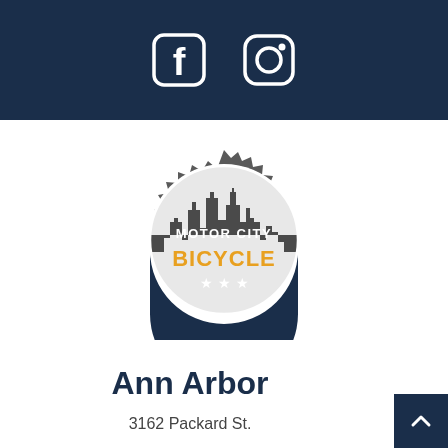[Figure (logo): Dark navy header bar with Facebook and Instagram social media icons in white]
[Figure (logo): Motor City Bicycle logo: a gear/sprocket shape in dark grey with a city skyline silhouette at top, 'MOTOR CITY' text in white, 'BICYCLE' text in gold/orange, and three stars at the bottom on a navy background]
Ann Arbor
3162 Packard St.